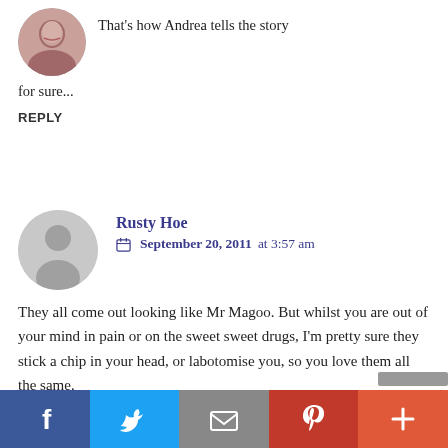[Figure (photo): Circular avatar photo of a woman with dark hair and red lips]
That's how Andrea tells the story for sure...
REPLY
[Figure (illustration): Default grey circular avatar icon with person silhouette]
Rusty Hoe
September 20, 2011 at 3:57 am
They all come out looking like Mr Magoo. But whilst you are out of your mind in pain or on the sweet sweet drugs, I'm pretty sure they stick a chip in your head, or labotomise you, so you love them all the same.
REPLY